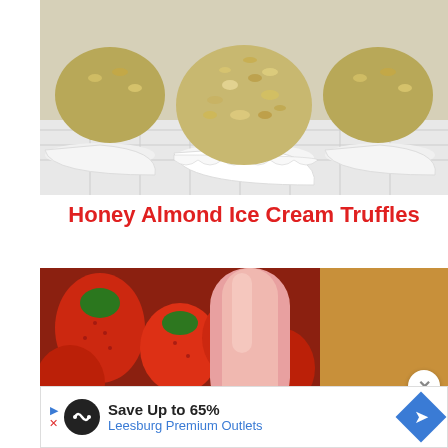[Figure (photo): Close-up photo of honey almond ice cream truffles coated in chopped nuts, sitting in white paper cupcake liners on a white surface]
Honey Almond Ice Cream Truffles
[Figure (photo): Close-up photo of strawberry popsicle/ice pop with fresh red strawberries in the background]
Save Up to 65%
Leesburg Premium Outlets